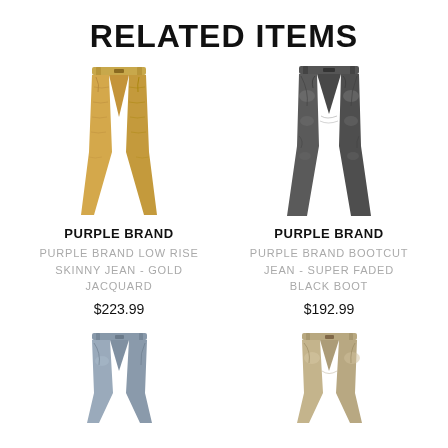RELATED ITEMS
[Figure (photo): Yellow/gold jacquard skinny jeans, full length view on white background]
PURPLE BRAND
PURPLE BRAND LOW RISE SKINNY JEAN - GOLD JACQUARD
$223.99
[Figure (photo): Dark grey bootcut jeans, super faded black boot, full length view on white background]
PURPLE BRAND
PURPLE BRAND BOOTCUT JEAN - SUPER FADED BLACK BOOT
$192.99
[Figure (photo): Blue/grey skinny jeans, partially visible, cropped at bottom of page]
[Figure (photo): Light wash/sand colored jeans, partially visible, cropped at bottom of page]